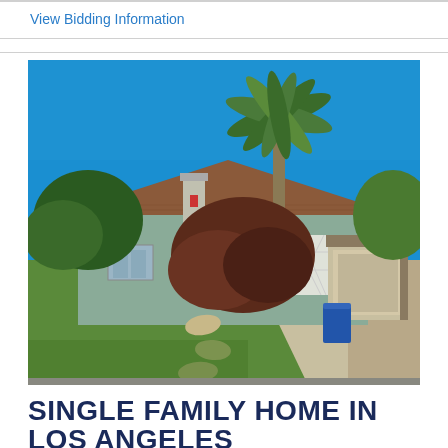View Bidding Information
[Figure (photo): Exterior photo of a single-family ranch-style home in Los Angeles. The house has a light gray/green stucco exterior with a brown/terracotta tile roof. There is a tall queen palm tree and a large dark-red/brown shrub in the front yard. A concrete driveway leads to a carport and garage on the right. The front yard has green grass with stepping stones. A blue recycling bin is visible near the garage. The sky is bright blue and clear.]
SINGLE FAMILY HOME IN LOS ANGELES